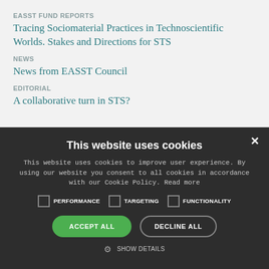EASST FUND REPORTS
Tracing Sociomaterial Practices in Technoscientific Worlds. Stakes and Directions for STS
NEWS
News from EASST Council
EDITORIAL
A collaborative turn in STS?
[Figure (screenshot): Cookie consent banner overlay with dark background showing title 'This website uses cookies', descriptive text, checkboxes for PERFORMANCE, TARGETING, FUNCTIONALITY, ACCEPT ALL and DECLINE ALL buttons, and SHOW DETAILS option with gear icon. Also shows a close X button in top right.]